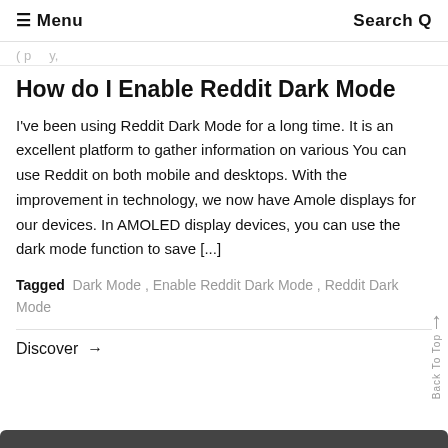≡ Menu   Search Q
( p   y,
How do I Enable Reddit Dark Mode
I've been using Reddit Dark Mode for a long time. It is an excellent platform to gather information on various You can use Reddit on both mobile and desktops. With the improvement in technology, we now have Amole displays for our devices. In AMOLED display devices, you can use the dark mode function to save [...]
Tagged Dark Mode , Enable Reddit Dark Mode , Reddit Dark Mode
Discover →
↑ Back To Top